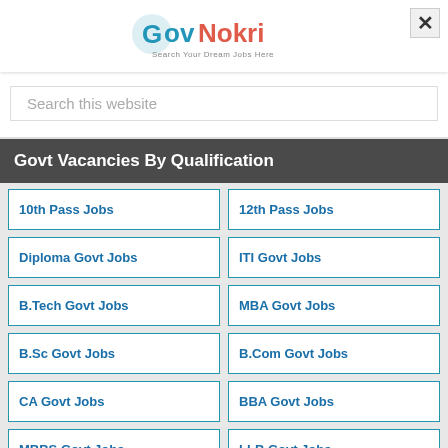[Figure (logo): GovNokri logo with tagline 'Search Your Dream Jobs Here']
Search this website
Govt Vacancies By Qualification
10th Pass Jobs
12th Pass Jobs
Diploma Govt Jobs
ITI Govt Jobs
B.Tech Govt Jobs
MBA Govt Jobs
B.Sc Govt Jobs
B.Com Govt Jobs
CA Govt Jobs
BBA Govt Jobs
MBBS Govt Jobs
LLB Govt Jobs